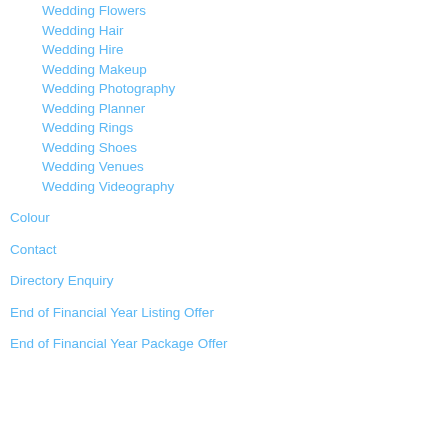Wedding Flowers
Wedding Hair
Wedding Hire
Wedding Makeup
Wedding Photography
Wedding Planner
Wedding Rings
Wedding Shoes
Wedding Venues
Wedding Videography
Colour
Contact
Directory Enquiry
End of Financial Year Listing Offer
End of Financial Year Package Offer